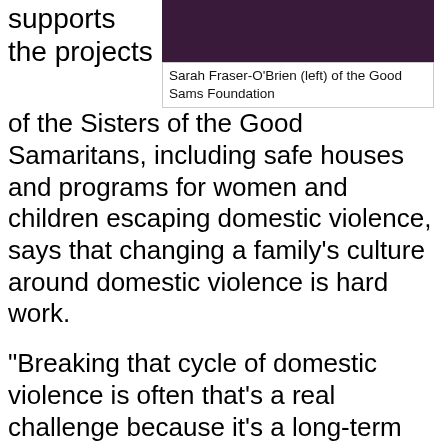supports the projects
[Figure (photo): Photo of Sarah Fraser-O'Brien (left) of the Good Sams Foundation, woman in pink/magenta top]
Sarah Fraser-O'Brien (left) of the Good Sams Foundation
of the Sisters of the Good Samaritans, including safe houses and programs for women and children escaping domestic violence, says that changing a family's culture around domestic violence is hard work.
"Breaking that cycle of domestic violence is often that's a real challenge because it's a long-term lifestyle that a woman might have endured, even from her own childhood, so you have to deal with self-esteem and all those sorts of concerns," she says.
"The aim is to try to get her back on her feet and to try to build her networks, her support network, and build her confidence, and get her in a position where she doesn't want to go back to the perpetrator and hopefully we won't have that cycle continuing in her children. Our big aim is to try to break that whole cycle, and to have that wonderful change in